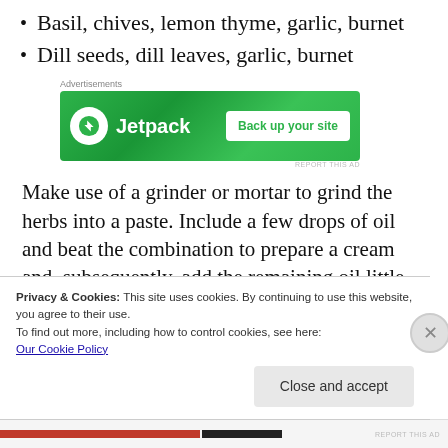Basil, chives, lemon thyme, garlic, burnet
Dill seeds, dill leaves, garlic, burnet
[Figure (other): Jetpack advertisement banner with green background, Jetpack logo and 'Back up your site' button]
Make use of a grinder or mortar to grind the herbs into a paste. Include a few drops of oil and beat the combination to prepare a cream and, subsequently, add the remaining oil little by little. Transfer the blend to a clean, dry
Privacy & Cookies: This site uses cookies. By continuing to use this website, you agree to their use.
To find out more, including how to control cookies, see here:
Our Cookie Policy
Close and accept